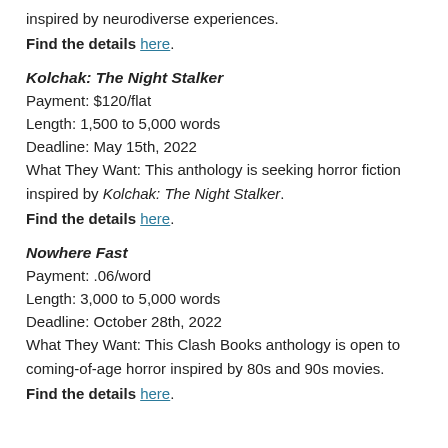inspired by neurodiverse experiences.
Find the details here.
Kolchak: The Night Stalker
Payment: $120/flat
Length: 1,500 to 5,000 words
Deadline: May 15th, 2022
What They Want: This anthology is seeking horror fiction inspired by Kolchak: The Night Stalker.
Find the details here.
Nowhere Fast
Payment: .06/word
Length: 3,000 to 5,000 words
Deadline: October 28th, 2022
What They Want: This Clash Books anthology is open to coming-of-age horror inspired by 80s and 90s movies.
Find the details here.